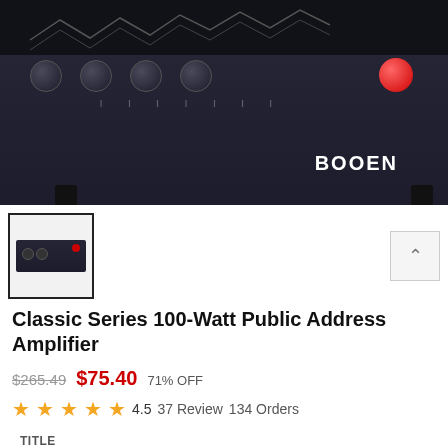[Figure (photo): Close-up photo of a Booen brand amplifier/PA system, dark charcoal colored metal chassis with knobs and a red power button, on white background]
[Figure (photo): Small thumbnail image of the Booen Classic Series amplifier, full unit view, dark colored rectangular device]
Classic Series 100-Watt Public Address Amplifier
$265.49  $75.40  71% OFF
4.5  37 Review  134 Orders
TITLE
Default Title